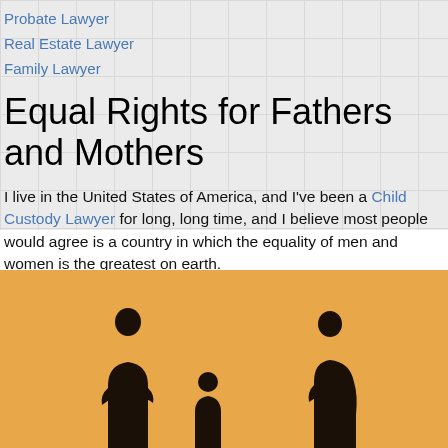Probate Lawyer
Real Estate Lawyer
Family Lawyer
Equal Rights for Fathers and Mothers
I live in the United States of America, and I've been a Child Custody Lawyer for long, long time, and I believe most people would agree is a country in which the equality of men and women is the greatest on earth.
[Figure (photo): Silhouettes of two adults and a child against an orange/amber background, representing a family custody scenario]